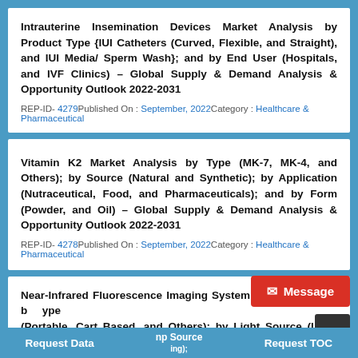Intrauterine Insemination Devices Market Analysis by Product Type {IUI Catheters (Curved, Flexible, and Straight), and IUI Media/Sperm Wash}; and by End User (Hospitals, and IVF Clinics) – Global Supply & Demand Analysis & Opportunity Outlook 2022-2031
REP-ID- 4279Published On : September, 2022Category : Healthcare & Pharmaceutical
Vitamin K2 Market Analysis by Type (MK-7, MK-4, and Others); by Source (Natural and Synthetic); by Application (Nutraceutical, Food, and Pharmaceuticals); and by Form (Powder, and Oil) – Global Supply & Demand Analysis & Opportunity Outlook 2022-2031
REP-ID- 4278Published On : September, 2022Category : Healthcare & Pharmaceutical
Near-Infrared Fluorescence Imaging System Market Analysis by Type (Portable, Cart Based, and Others); by Light Source (Light Emitting Diode, Lamp Source, and Laser); by Application (Oncology, Cardiovascular, and Gastrointestinal Imaging); by